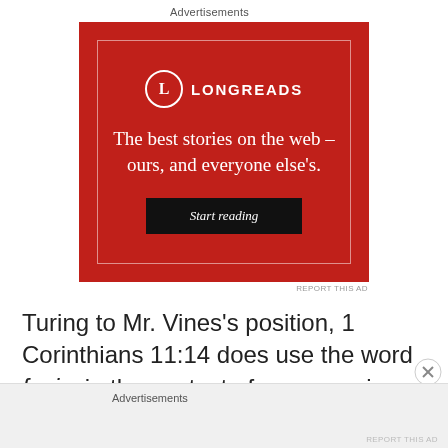Advertisements
[Figure (other): Longreads advertisement banner. Red background with white text reading 'The best stories on the web – ours, and everyone else's.' with a black 'Start reading' button and the Longreads logo at top.]
REPORT THIS AD
Turing to Mr. Vines's position, 1 Corinthians 11:14 does use the word fusis, in the context of men growing their hair
Advertisements
REPORT THIS AD